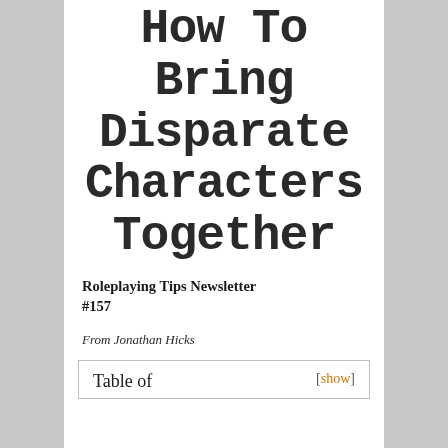How To Bring Disparate Characters Together
Roleplaying Tips Newsletter #157
From Jonathan Hicks
| Table of | [show] |
| --- | --- |